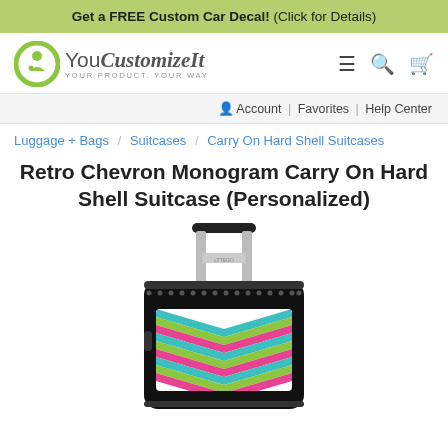Get a FREE Custom Car Decal! (Click for Details)
[Figure (logo): YouCustomizeIt logo with green circle icon and tagline YOUR PRODUCT. YOUR WAY]
Account | Favorites | Help Center
Luggage + Bags / Suitcases / Carry On Hard Shell Suitcases
Retro Chevron Monogram Carry On Hard Shell Suitcase (Personalized)
[Figure (photo): Photo of a carry-on hard shell suitcase with retro chevron multicolor pattern, viewed from above showing the handle extended, with a black frame and colorful zigzag pattern on the front.]